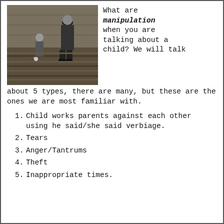[Figure (photo): Black and white photograph of a child and adult on wooden steps or porch]
What are manipulation when you are talking about a child? We will talk about 5 types, there are many, but these are the ones we are most familiar with.
Child works parents against each other using he said/she said verbiage.
Tears
Anger/Tantrums
Theft
Inappropriate times.